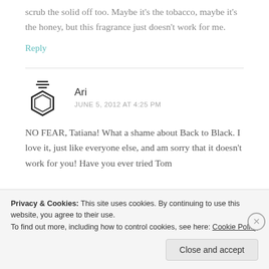scrub the solid off too. Maybe it's the tobacco, maybe it's the honey, but this fragrance just doesn't work for me.
Reply
Ari
JUNE 5, 2012 AT 4:25 PM
[Figure (illustration): Perfume bottle icon: hexagonal bottle shape with three horizontal lines on top representing a stopper/cap]
NO FEAR, Tatiana! What a shame about Back to Black. I love it, just like everyone else, and am sorry that it doesn't work for you! Have you ever tried Tom
Privacy & Cookies: This site uses cookies. By continuing to use this website, you agree to their use.
To find out more, including how to control cookies, see here: Cookie Policy
Close and accept